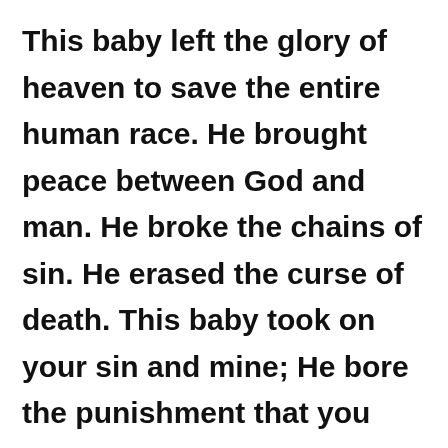This baby left the glory of heaven to save the entire human race.  He brought peace between God and man.  He broke the chains of sin.  He erased the curse of death.  This baby took on your sin and mine; He bore the punishment that you and I rightly deserved.  He surrendered His body to the cross and the grave.  He did it all so that you and I could have life full and abundant and eternal.  He gave